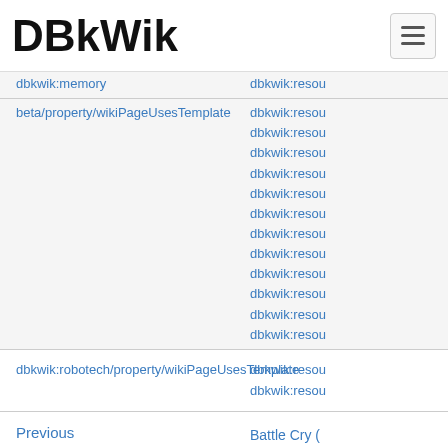DBkWik
dbkwik:memory
beta/property/wikiPageUsesTemplate
dbkwik:resou (x12 items)
dbkwik:robotech/property/wikiPageUsesTemplate
dbkwik:resou (x2 items)
Previous
Battle Cry (
Day 21